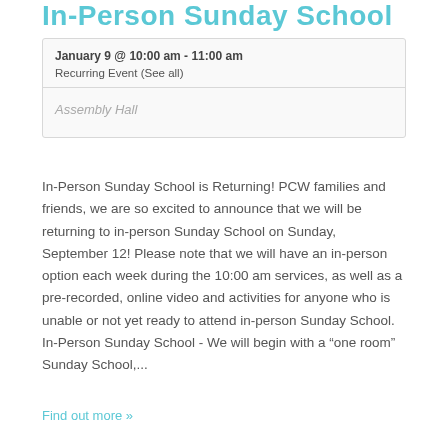In-Person Sunday School
January 9 @ 10:00 am - 11:00 am
Recurring Event (See all)
Assembly Hall
In-Person Sunday School is Returning! PCW families and friends, we are so excited to announce that we will be returning to in-person Sunday School on Sunday, September 12! Please note that we will have an in-person option each week during the 10:00 am services, as well as a pre-recorded, online video and activities for anyone who is unable or not yet ready to attend in-person Sunday School. In-Person Sunday School - We will begin with a “one room” Sunday School,...
Find out more »